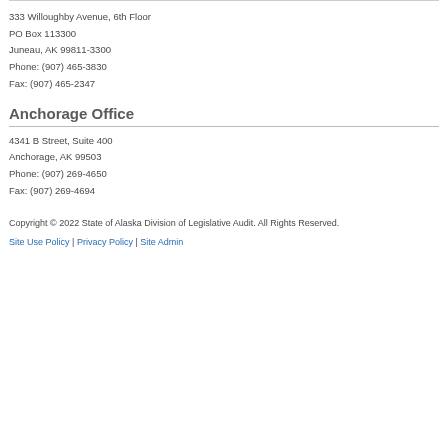Juneau Office
333 Willoughby Avenue, 6th Floor
PO Box 113300
Juneau, AK 99811-3300
Phone: (907) 465-3830
Fax: (907) 465-2347
Anchorage Office
4341 B Street, Suite 400
Anchorage, AK 99503
Phone: (907) 269-4650
Fax: (907) 269-4694
Copyright © 2022 State of Alaska Division of Legislative Audit. All Rights Reserved.
Site Use Policy | Privacy Policy | Site Admin